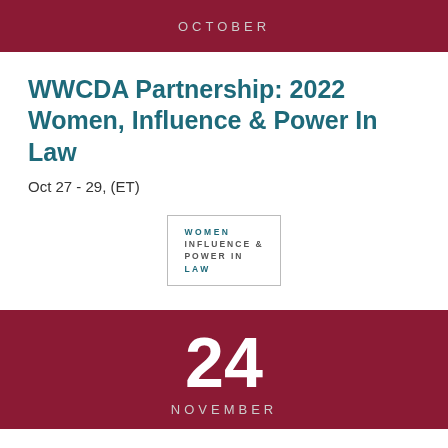OCTOBER
WWCDA Partnership: 2022 Women, Influence & Power In Law
Oct 27 - 29, (ET)
[Figure (logo): Women Influence & Power In Law logo in a bordered box]
24 NOVEMBER
European Leadership Team | Quarterly